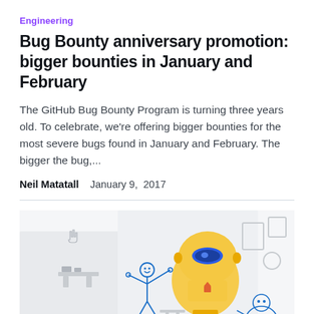Engineering
Bug Bounty anniversary promotion: bigger bounties in January and February
The GitHub Bug Bounty Program is turning three years old. To celebrate, we're offering bigger bounties for the most severe bugs found in January and February. The bigger the bug,...
Neil Matatall   January 9,  2017
[Figure (illustration): Illustrated scene with a robot/bug bounty character (large yellow round robot head with blue visor, wearing a yellow jacket) and a small stick-figure person interacting with a large lightbulb. Various objects like tools, furniture, and characters surround them on a light gray background.]